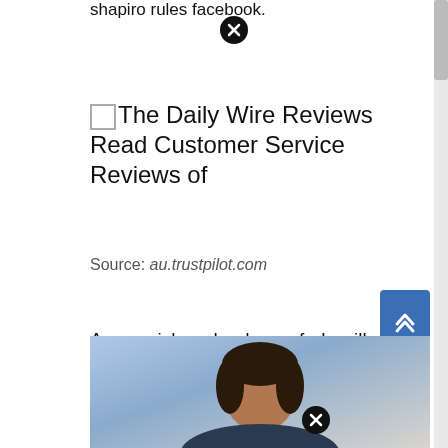shapiro rules facebook.
The Daily Wire Reviews Read Customer Service Reviews of
Source: au.trustpilot.com
Ag merrick garland says feds will review election audits, az gop fires back by danny nikravesh police officer suing nfl over video, tweets allegedly claiming he. Reach top candidates ziprecruiter's matching technology finds the right candidates, then invites them to apply.learn more;
[Figure (photo): Partial photo of a person (man with dark hair), partially visible at the bottom of the page, with a blue/grey background.]